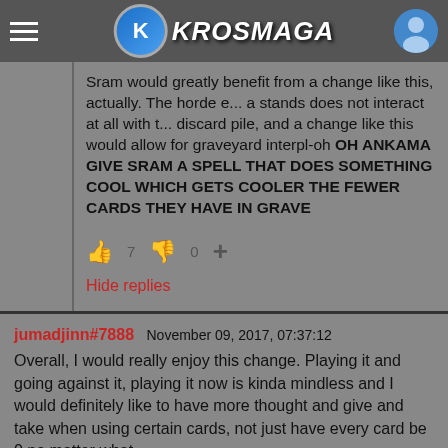Krosmaga
Sram would greatly benefit from a change like this, actually. The horde e... a stands does not interact at all with the discard pile, and a change like this would allow for graveyard interpl-oh OH ANKAMA GIVE SRAM A SPELL THAT DOES SOMETHING COOL WHICH GETS COOLER THE FEWER CARDS THEY HAVE IN GRAVE
Hide replies
jumadjinn#7888 November 09, 2017, 07:37:12
Overall, I would really enjoy this change. Playing it and going against it, playing it now is kinda mindless and I would definitely like to have more thought and give and take when using certain cards, not just have every card be 0 no matter what.